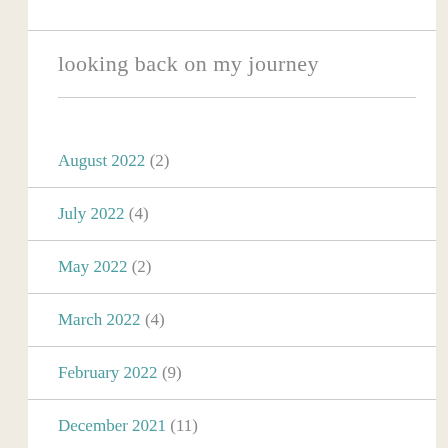looking back on my journey
August 2022 (2)
July 2022 (4)
May 2022 (2)
March 2022 (4)
February 2022 (9)
December 2021 (11)
November 2021 (3)
October 2021 (6)